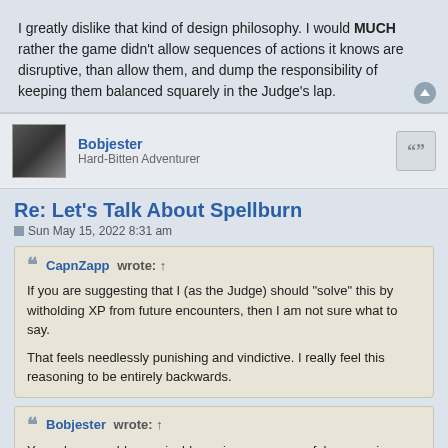I greatly dislike that kind of design philosophy. I would MUCH rather the game didn't allow sequences of actions it knows are disruptive, than allow them, and dump the responsibility of keeping them balanced squarely in the Judge's lap.
Bobjester
Hard-Bitten Adventurer
Re: Let's Talk About Spellburn
Sun May 15, 2022 8:31 am
CapnZapp wrote: ↑
If you are suggesting that I (as the Judge) should "solve" this by witholding XP from future encounters, then I am not sure what to say.

That feels needlessly punishing and vindictive. I really feel this reasoning to be entirely backwards.
Bobjester wrote: ↑
Your player could conceivably conjure up a powerful companion, or even rule an army at lower than intended levels simply by finding a loophole in the written rules, but the bottom line is that when